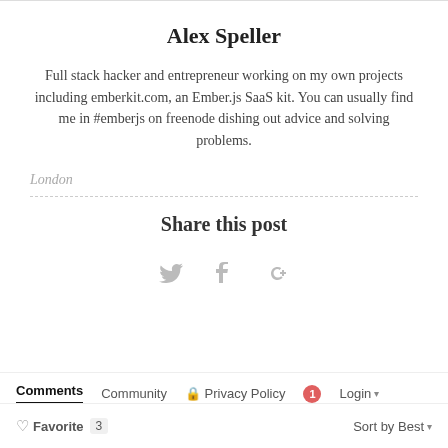Alex Speller
Full stack hacker and entrepreneur working on my own projects including emberkit.com, an Ember.js SaaS kit. You can usually find me in #emberjs on freenode dishing out advice and solving problems.
London
Share this post
[Figure (other): Social sharing icons: Twitter, Facebook, Google+]
Comments   Community   Privacy Policy   1   Login   Favorite   3   Sort by Best